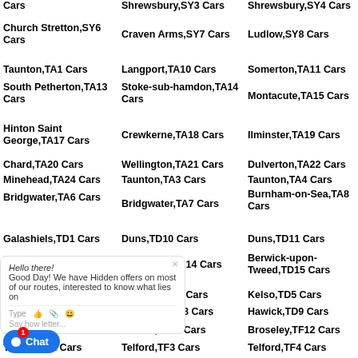Cars
Shrewsbury,SY3 Cars
Shrewsbury,SY4 Cars
Church Stretton,SY6 Cars
Craven Arms,SY7 Cars
Ludlow,SY8 Cars
Taunton,TA1 Cars
Langport,TA10 Cars
Somerton,TA11 Cars
South Petherton,TA13 Cars
Stoke-sub-hamdon,TA14 Cars
Montacute,TA15 Cars
Hinton Saint George,TA17 Cars
Crewkerne,TA18 Cars
Ilminster,TA19 Cars
Chard,TA20 Cars
Wellington,TA21 Cars
Dulverton,TA22 Cars
Minehead,TA24 Cars
Taunton,TA3 Cars
Taunton,TA4 Cars
Bridgwater,TA6 Cars
Bridgwater,TA7 Cars
Burnham-on-Sea,TA8 Cars
Galashiels,TD1 Cars
Duns,TD10 Cars
Duns,TD11 Cars
Cockburnspath,TD13 Cars
Eyemouth,TD14 Cars
Berwick-upon-Tweed,TD15 Cars
Gordon,TD3 Cars
Earlston,TD4 Cars
Kelso,TD5 Cars
Selkirk,TD7 Cars
Jedburgh,TD8 Cars
Hawick,TD9 Cars
Newport,TF10 Cars
Shifnal,TF11 Cars
Broseley,TF12 Cars
Telford,TF2 Cars
Telford,TF3 Cars
Telford,TF4 Cars